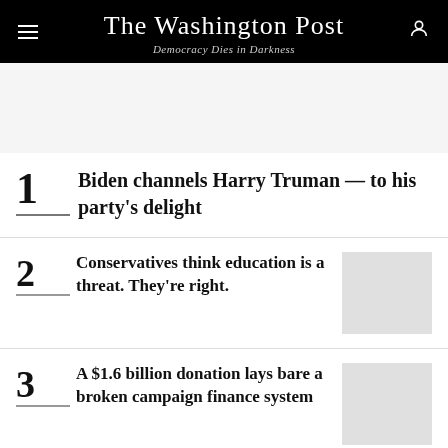The Washington Post — Democracy Dies in Darkness
1 Biden channels Harry Truman — to his party's delight
2 Conservatives think education is a threat. They're right.
3 A $1.6 billion donation lays bare a broken campaign finance system
[Figure (infographic): Advertisement banner: $5 OFF YOUR ONLINE ORDER OF $50+ — Giant Food store ad with grocery image]